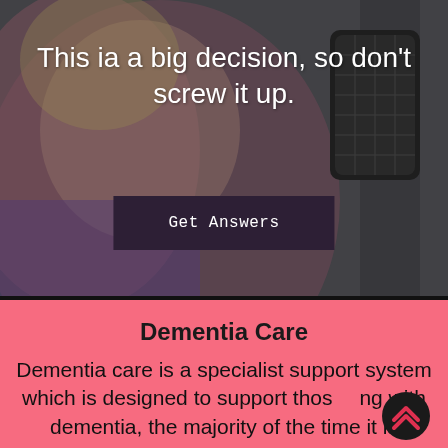[Figure (photo): Background photo of a woman singing close to a professional studio microphone, overlaid with dark tones. The image fills the top section of the page.]
This ia a big decision, so don't screw it up.
Get Answers
Dementia Care
Dementia care is a specialist support system which is designed to support those living with dementia, the majority of the time it is